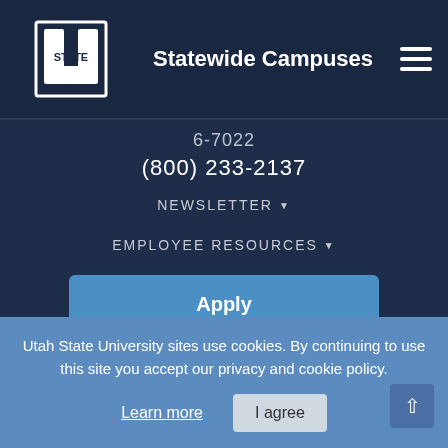Statewide Campuses
(800) 233-2137
NEWSLETTER
EMPLOYEE RESOURCES
Apply
Visit
Give
Utah State University sites use cookies. By continuing to use this site you accept our privacy and cookie policy.
Learn more
I agree